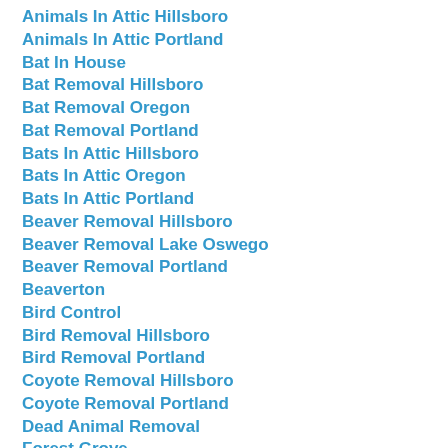Animals In Attic Hillsboro
Animals In Attic Portland
Bat In House
Bat Removal Hillsboro
Bat Removal Oregon
Bat Removal Portland
Bats In Attic Hillsboro
Bats In Attic Oregon
Bats In Attic Portland
Beaver Removal Hillsboro
Beaver Removal Lake Oswego
Beaver Removal Portland
Beaverton
Bird Control
Bird Removal Hillsboro
Bird Removal Portland
Coyote Removal Hillsboro
Coyote Removal Portland
Dead Animal Removal
Forest Grove
Gopher Control